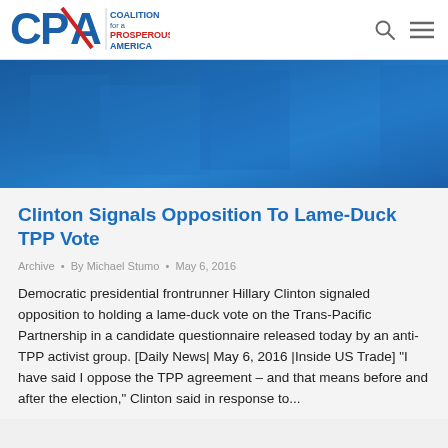[Figure (logo): Coalition for a Prosperous America (CPA) logo with blue and red lettering]
[Figure (photo): Blue gradient hero banner image]
Clinton Signals Opposition To Lame-Duck TPP Vote
Archive • By Michael Stumo • May 6, 2016
Democratic presidential frontrunner Hillary Clinton signaled opposition to holding a lame-duck vote on the Trans-Pacific Partnership in a candidate questionnaire released today by an anti-TPP activist group. [Daily News| May 6, 2016 |Inside US Trade] "I have said I oppose the TPP agreement – and that means before and after the election," Clinton said in response to...